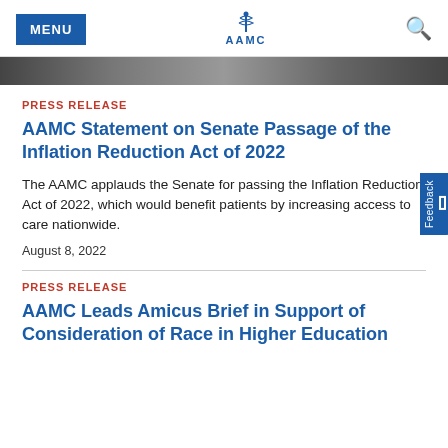MENU | AAMC
PRESS RELEASE
AAMC Statement on Senate Passage of the Inflation Reduction Act of 2022
The AAMC applauds the Senate for passing the Inflation Reduction Act of 2022, which would benefit patients by increasing access to care nationwide.
August 8, 2022
PRESS RELEASE
AAMC Leads Amicus Brief in Support of Consideration of Race in Higher Education